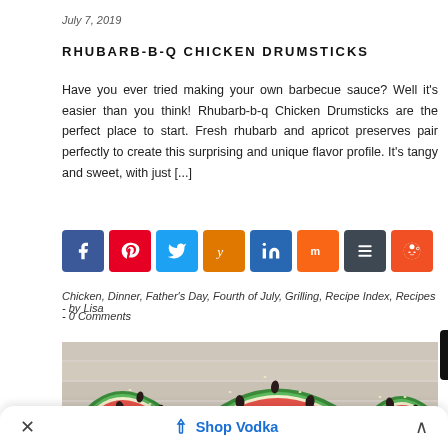July 7, 2019
RHUBARB-B-Q CHICKEN DRUMSTICKS
Have you ever tried making your own barbecue sauce? Well it's easier than you think! Rhubarb-b-q Chicken Drumsticks are the perfect place to start. Fresh rhubarb and apricot preserves pair perfectly to create this surprising and unique flavor profile. It's tangy and sweet, with just [...]
[Figure (infographic): Row of 8 colored social share buttons: Facebook (blue), Pinterest (red), Twitter (light blue), Yummly (orange), LinkedIn (dark blue), Mix (orange), Buffer (dark gray), Reddit (orange-red)]
Chicken, Dinner, Father's Day, Fourth of July, Grilling, Recipe Index, Recipes  -  by Lisa  -  0 Comments
[Figure (photo): Overhead photo of watermelon slices on a white wooden surface, showing pink flesh with dark seeds and green rind]